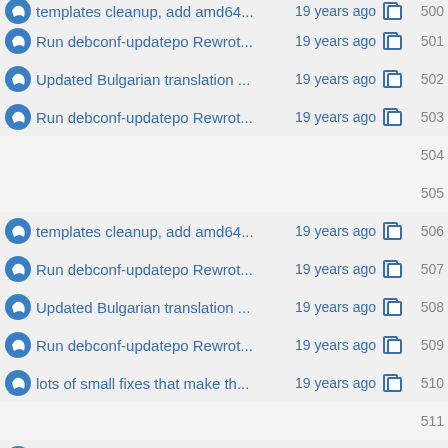templates cleanup, add amd64... 19 years ago 500
Run debconf-updatepo Rewrot... 19 years ago 501
Updated Bulgarian translation ... 19 years ago 502
Run debconf-updatepo Rewrot... 19 years ago 503
(empty) 504
(empty) 505
templates cleanup, add amd64... 19 years ago 506
Run debconf-updatepo Rewrot... 19 years ago 507
Updated Bulgarian translation ... 19 years ago 508
Run debconf-updatepo Rewrot... 19 years ago 509
lots of small fixes that make th... 19 years ago 510
(empty) 511
templates cleanup, add amd64... 19 years ago 512
lots of small fixes that make th... 19 years ago 513
trivial unfuzzying of confirm_st... 19 years ago 514
lots of small fixes that make th... 19 years ago 515
Run debconf-updatepo Rewrot... 19 years ago 516
(empty) 517
templates cleanup, add amd64... 19 years ago 518
Run debconf-updatepo Rewrot... 19 years ago 519
Updated Bulgarian translation ... 19 years ago 520 (partial)